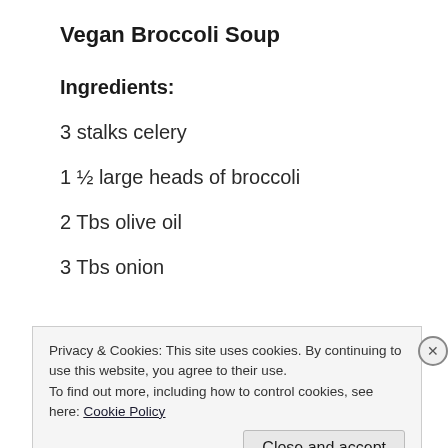Vegan Broccoli Soup
Ingredients:
3 stalks celery
1 ½ large heads of broccoli
2 Tbs olive oil
3 Tbs onion
Privacy & Cookies: This site uses cookies. By continuing to use this website, you agree to their use.
To find out more, including how to control cookies, see here: Cookie Policy
Close and accept